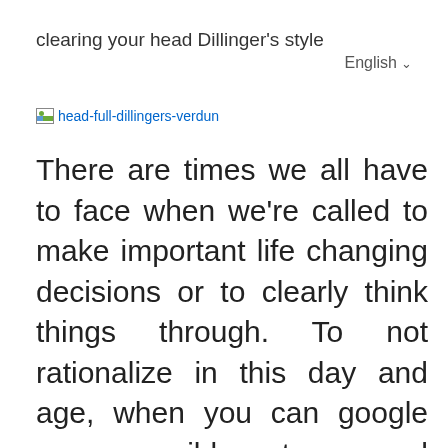clearing your head Dillinger's style
English ▾
[Figure (other): Broken image placeholder with alt text 'head-full-dillingers-verdun']
There are times we all have to face when we're called to make important life changing decisions or to clearly think things through. To not rationalize in this day and age, when you can google every possible outcome and avoid a catastrophe is